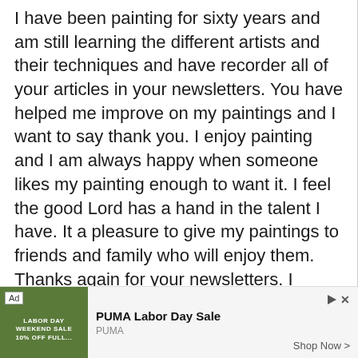I have been painting for sixty years and am still learning the different artists and their techniques and have recorder all of your articles in your newsletters. You have helped me improve on my paintings and I want to say thank you. I enjoy painting and I am always happy when someone likes my painting enough to want it. I feel the good Lord has a hand in the talent I have. It a pleasure to give my paintings to friends and family who will enjoy them. Thanks again for your newsletters. I throughly look forward to receiving your next ones.
[Figure (other): Advertisement banner for PUMA Labor Day Sale with an image of a person, Ad label, PUMA brand name, 'Shop Now' button with chevron, and play/close icons.]